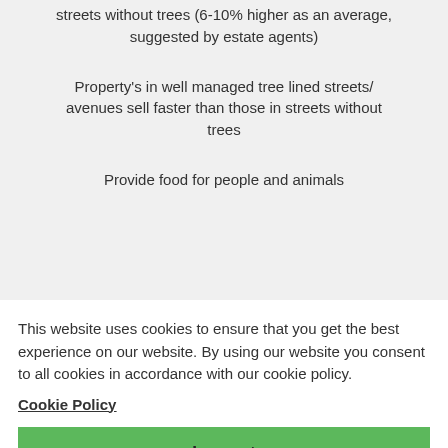streets without trees (6-10% higher as an average, suggested by estate agents)
Property's in well managed tree lined streets/ avenues sell faster than those in streets without trees
Provide food for people and animals
This website uses cookies to ensure that you get the best experience on our website. By using our website you consent to all cookies in accordance with our cookie policy.
Cookie Policy
I accept
can be used to soften harsh landscapes such as